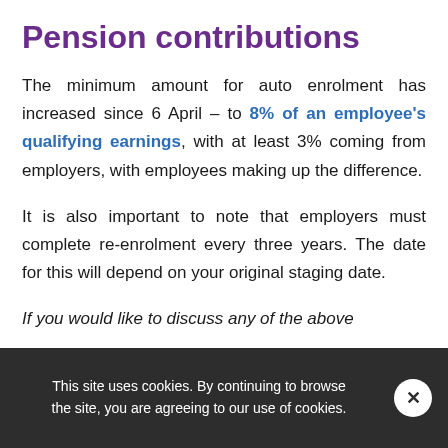Pension contributions
The minimum amount for auto enrolment has increased since 6 April – to 8% of an employee's qualifying earnings, with at least 3% coming from employers, with employees making up the difference.
It is also important to note that employers must complete re-enrolment every three years. The date for this will depend on your original staging date.
If you would like to discuss any of the above
This site uses cookies. By continuing to browse the site, you are agreeing to our use of cookies.